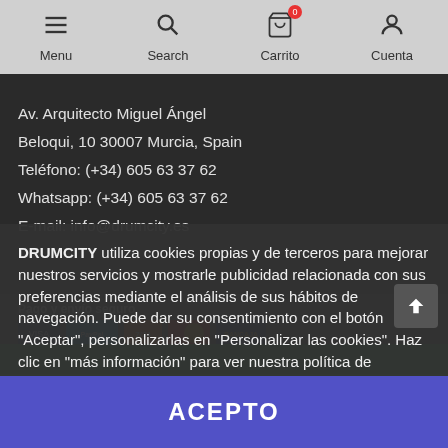Menu | Search | Carrito 0 | Cuenta
Av. Arquitecto Miguel Ángel
Beloqui, 10 30007 Murcia, Spain
Teléfono: (+34) 605 63 37 62
Whatsapp: (+34) 605 63 37 62
E-mail: info@drumcity.es
Pago y envío seguro
[Figure (screenshot): Payment logos: Visa, PayPal, 7/24, Mastercard, Bancaja]
DRUMCITY utiliza cookies propias y de terceros para mejorar nuestros servicios y mostrarle publicidad relacionada con sus preferencias mediante el análisis de sus hábitos de navegación. Puede dar su consentimiento con el botón "Aceptar", personalizarlas en "Personalizar las cookies". Haz clic en "más información" para ver nuestra política de cookies.
Más información
Personalizar las cookies
ACEPTO